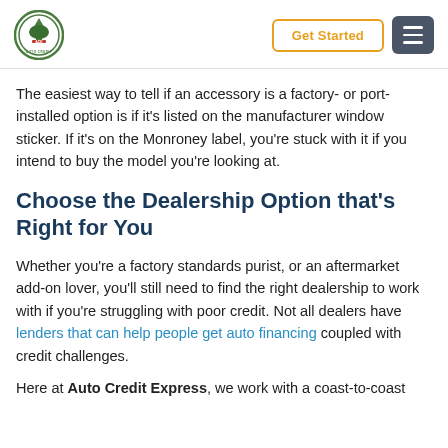ACE logo | Get Started | Menu
The easiest way to tell if an accessory is a factory- or port-installed option is if it's listed on the manufacturer window sticker. If it's on the Monroney label, you're stuck with it if you intend to buy the model you're looking at.
Choose the Dealership Option that's Right for You
Whether you're a factory standards purist, or an aftermarket add-on lover, you'll still need to find the right dealership to work with if you're struggling with poor credit. Not all dealers have lenders that can help people get auto financing coupled with credit challenges.
Here at Auto Credit Express, we work with a coast-to-coast